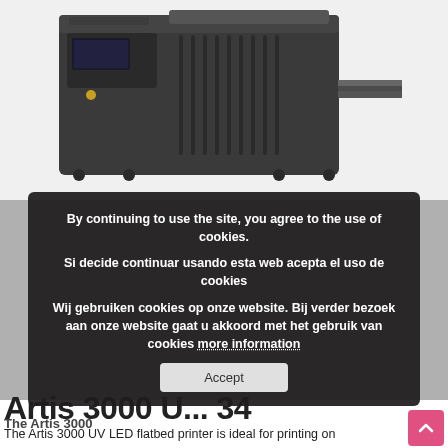[Figure (photo): Photo of Artis 3000 UV LED flatbed printer in dark gray/charcoal color, shown at an angle with a media tray pulled out to the right side, against a white background.]
[Figure (screenshot): Cookie consent overlay in dark semi-transparent background with three language versions of cookie notice (English, Spanish, Dutch) and an Accept button, overlaid on a partially visible second product/content section.]
By continuing to use the site, you agree to the use of cookies.
Si decide continuar usando esta web acepta el uso de cookies
Wij gebruiken cookies op onze website. Bij verder bezoek aan onze website gaat u akkoord met het gebruik van cookies more information
Accept
Artis 3000 U... 34
The Artis 3000
The Artis 3000 UV LED flatbed printer is ideal for printing on